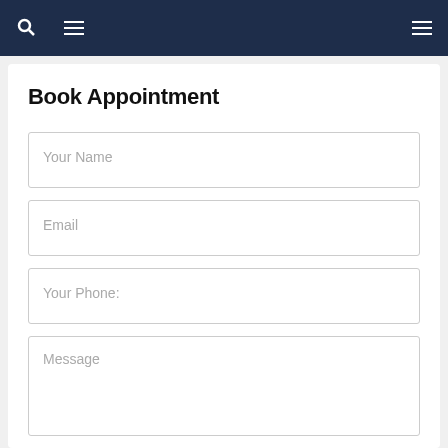Navigation bar with search and menu icons
Book Appointment
Your Name
Email
Your Phone:
Message